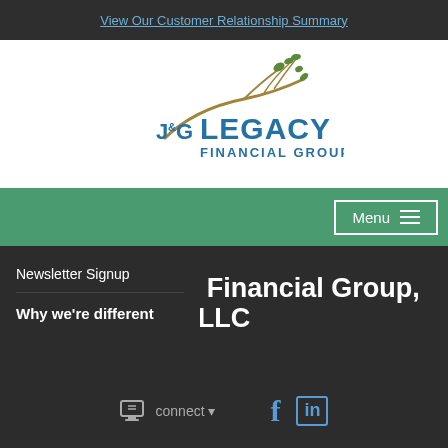View Our Customer Relationship Summary
[Figure (logo): J&G Legacy Financial Group, LLC logo with tree branch illustration in gold/brown and blue text]
Menu
Newsletter Signup
Why we're different
J & G Legacy Financial Group, LLC
connect
[Figure (logo): Facebook icon (f) in blue]
[Figure (logo): LinkedIn icon (in) in blue]